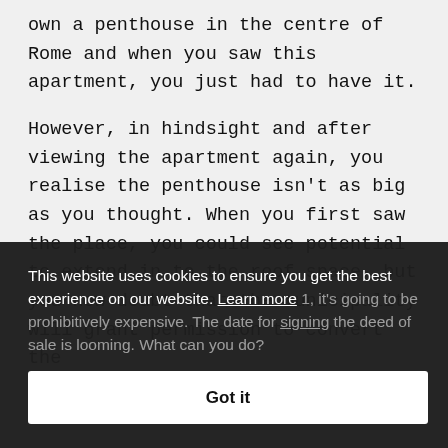own a penthouse in the centre of Rome and when you saw this apartment, you just had to have it.
However, in hindsight and after viewing the apartment again, you realise the penthouse isn't as big as you thought. When you first saw the place, you could see potential to extend in to the roof space, but you now doubt that the municipality will grant permission to convert the … it's going to be prohibitively expensive. The date for signing the deed of sale is looming. What can you do?
This website uses cookies to ensure you get the best experience on our website. Learn more
Got it